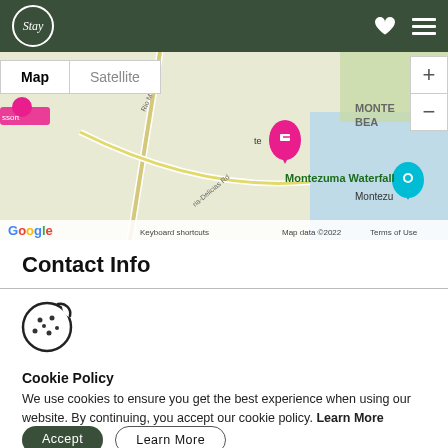Stay
[Figure (map): Google Maps view showing Montezuma Waterfall area in Costa Rica with map/satellite toggle, zoom controls, and location markers. Shows 'MONTEZUMA BEACH' label, 'Montezuma Waterfall' label in green, Google branding, Map data ©2022, Terms of Use, and Keyboard shortcuts text.]
Contact Info
[Figure (illustration): Cookie icon — circular cookie with chocolate chip dots and a bite taken out]
Cookie Policy
We use cookies to ensure you get the best experience when using our website. By continuing, you accept our cookie policy. Learn More
Accept   Learn More